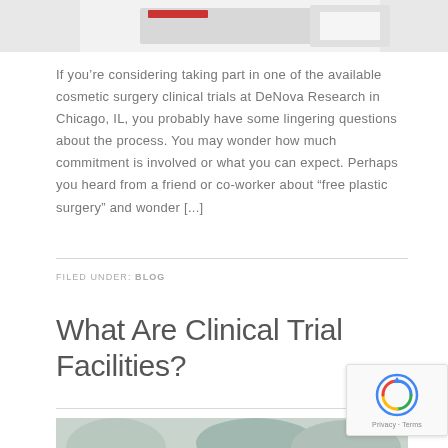[Figure (photo): Partial top image, appears to show medical or office related items, cropped at top of page]
If you’re considering taking part in one of the available cosmetic surgery clinical trials at DeNova Research in Chicago, IL, you probably have some lingering questions about the process. You may wonder how much commitment is involved or what you can expect. Perhaps you heard from a friend or co-worker about “free plastic surgery” and wonder [...]
FILED UNDER: BLOG
What Are Clinical Trial Facilities?
[Figure (photo): Partial bottom image showing people, likely medical staff or clinical trial participants, cropped at bottom of page]